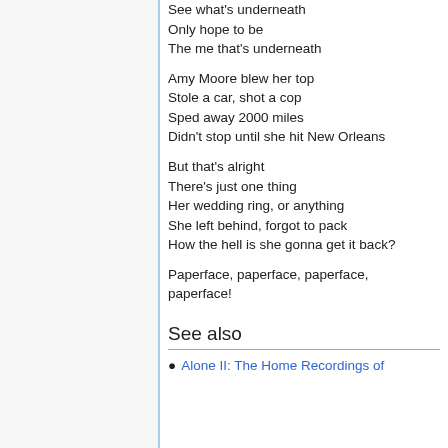See what's underneath
Only hope to be
The me that's underneath
Amy Moore blew her top
Stole a car, shot a cop
Sped away 2000 miles
Didn't stop until she hit New Orleans
But that's alright
There's just one thing
Her wedding ring, or anything
She left behind, forgot to pack
How the hell is she gonna get it back?
Paperface, paperface, paperface, paperface!
See also
Alone II: The Home Recordings of